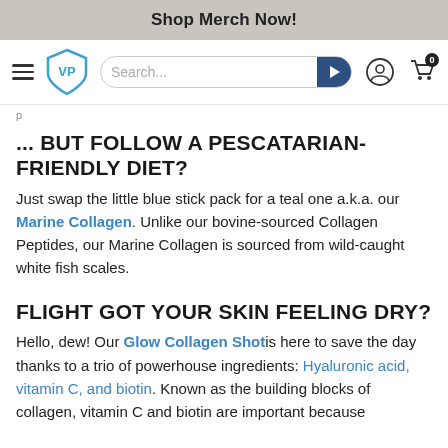Shop Merch Now!
[Figure (logo): VP shield logo and navigation bar with search input, user icon, and shopping cart with 0 badge]
... BUT FOLLOW A PESCATARIAN-FRIENDLY DIET?
Just swap the little blue stick pack for a teal one a.k.a. our Marine Collagen. Unlike our bovine-sourced Collagen Peptides, our Marine Collagen is sourced from wild-caught white fish scales.
FLIGHT GOT YOUR SKIN FEELING DRY?
Hello, dew! Our Glow Collagen Shot is here to save the day thanks to a trio of powerhouse ingredients: Hyaluronic acid, vitamin C, and biotin. Known as the building blocks of collagen, vitamin C and biotin are important because